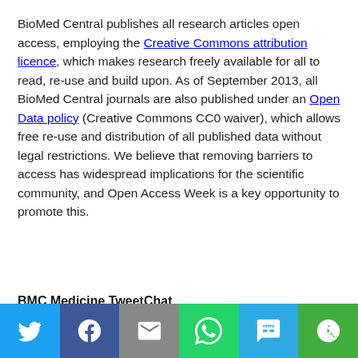BioMed Central publishes all research articles open access, employing the Creative Commons attribution licence, which makes research freely available for all to read, re-use and build upon. As of September 2013, all BioMed Central journals are also published under an Open Data policy (Creative Commons CC0 waiver), which allows free re-use and distribution of all published data without legal restrictions. We believe that removing barriers to access has widespread implications for the scientific community, and Open Access Week is a key opportunity to promote this.
BMC Medicine TweetChat
[Figure (infographic): Social share bar with six buttons: Twitter (blue bird icon), Facebook (dark blue f icon), Email (grey envelope icon), WhatsApp (green phone icon), SMS (blue SMS bubble icon), More (green circular arrow icon)]